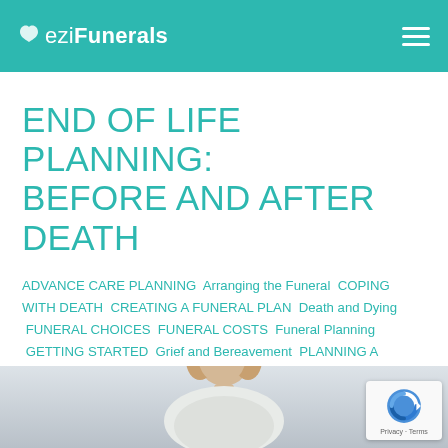eziFunerals
END OF LIFE PLANNING: BEFORE AND AFTER DEATH
ADVANCE CARE PLANNING Arranging the Funeral COPING WITH DEATH CREATING A FUNERAL PLAN Death and Dying FUNERAL CHOICES FUNERAL COSTS Funeral Planning GETTING STARTED Grief and Bereavement PLANNING A FUNERAL IN ADVANCE SELECTING A FUNERAL DIRECTOR WHEN SOMEONE DIES WHY JOIN EZIFUNERALS
[Figure (photo): Person (appears to be a woman) looking down, photographed from above, with light background]